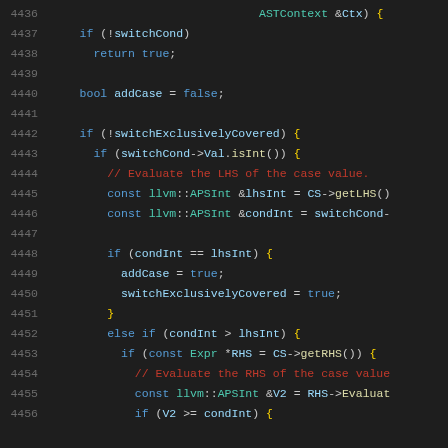[Figure (screenshot): Source code screenshot showing C++ code lines 4436-4456 with syntax highlighting on dark background. Code involves ASTContext, switchCond, switchExclusivelyCovered, bool addCase logic, llvm::APSInt comparisons, and case value evaluation.]